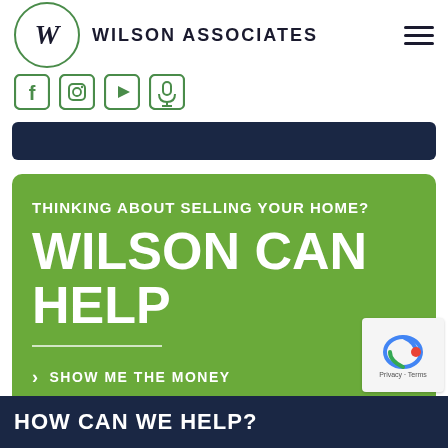WILSON ASSOCIATES
[Figure (logo): Wilson Associates logo: circle with W letter and brand name, plus hamburger menu icon and social media icons (Facebook, Instagram, YouTube, Podcast)]
THINKING ABOUT SELLING YOUR HOME? WILSON CAN HELP
> SHOW ME THE MONEY
HOW CAN WE HELP?